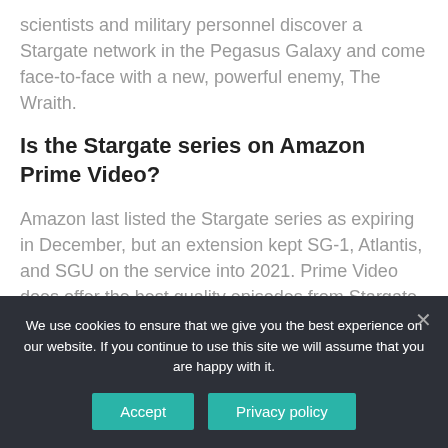scientists and military personnel discover a Stargate network in the Pegasus Galaxy and come face-to-face with a new, powerful enemy, The Wraith.
Is the Stargate series on Amazon Prime Video?
Amazon last listed the Stargate series as expiring in December, but an extension kept SG-1, Atlantis, and SGU on the service into 2021. Prime Video does offer the best quality episodes from Stargate SG-1 Seasons One
We use cookies to ensure that we give you the best experience on our website. If you continue to use this site we will assume that you are happy with it.